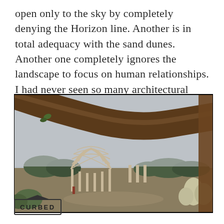open only to the sky by completely denying the Horizon line. Another is in total adequacy with the sand dunes. Another one completely ignores the landscape to focus on human relationships. I had never seen so many architectural proposals scattered in a desert area.”
[Figure (photo): Outdoor photograph of a wooden lattice dome-like architectural structure under construction in a desert/coastal landscape area, framed by a large tree branch in the foreground. Shrubs and trees visible in background under an overcast sky.]
CURBED